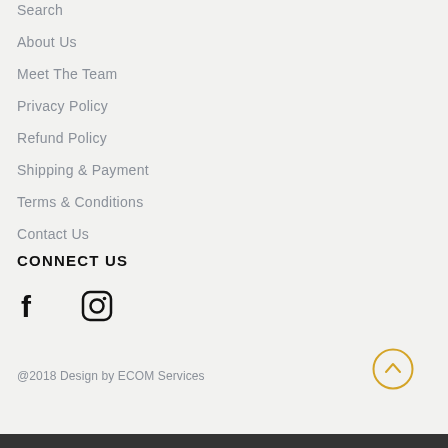Search
About Us
Meet The Team
Privacy Policy
Refund Policy
Shipping & Payment
Terms & Conditions
Contact Us
CONNECT US
[Figure (illustration): Social media icons: Facebook (f) and Instagram (camera icon)]
@2018 Design by ECOM Services